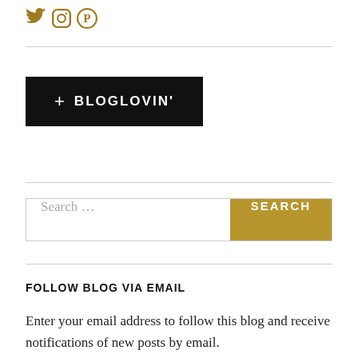[Figure (other): Social media icons: Twitter, Instagram, Pinterest in gold/olive color]
[Figure (other): Bloglovin follow button: black background with white text '+ BLOGLOVIN']
Search …
FOLLOW BLOG VIA EMAIL
Enter your email address to follow this blog and receive notifications of new posts by email.